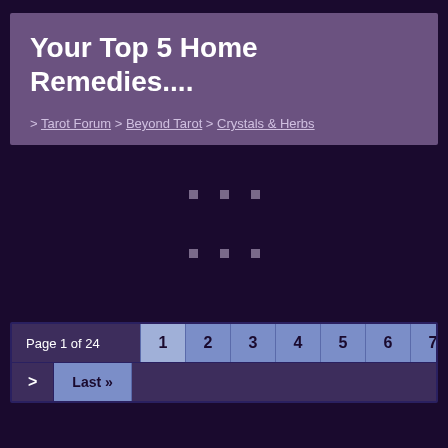Your Top 5 Home Remedies....
> Tarot Forum > Beyond Tarot > Crystals & Herbs
[Figure (other): Loading spinner dots in two rows of three squares on dark purple background]
Page 1 of 24  1  2  3  4  5  6  7  8  9  10  11  >  Last »